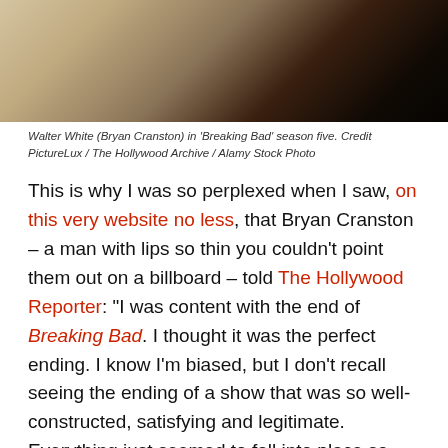[Figure (photo): Silhouette of Walter White (Bryan Cranston) against a sandy/beige background in Breaking Bad season five.]
Walter White (Bryan Cranston) in 'Breaking Bad' season five. Credit PictureLux / The Hollywood Archive / Alamy Stock Photo
This is why I was so perplexed when I saw, on this very website no less, that Bryan Cranston – a man with lips so thin you couldn't point them out on a billboard – told The Hollywood Reporter: “I was content with the end of Breaking Bad. I thought it was the perfect ending. I know I’m biased, but I don’t recall seeing the ending of a show that was so well-constructed, satisfying and legitimate. Everything just seemed to fall into place so extraordinarily well.”